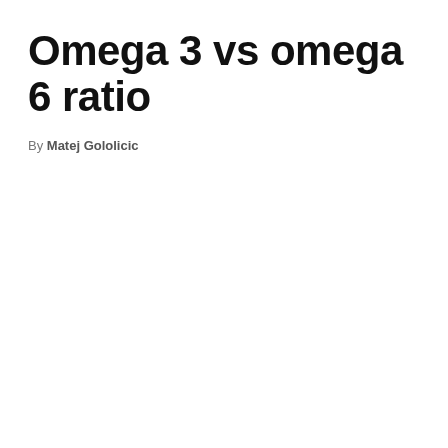Omega 3 vs omega 6 ratio
By Matej Gololicic